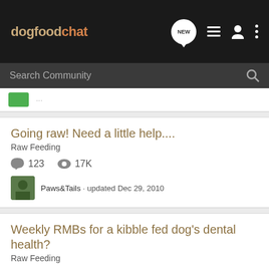dogfoodchat — header with navigation icons (NEW, list, user, menu)
Search Community
Going raw! Need a little help.... | Raw Feeding | 123 comments, 17K views | Paws&Tails · updated Dec 29, 2010
Weekly RMBs for a kibble fed dog's dental health? | Raw Feeding | 7 comments, 1K views | RachelsaurusRexU · updated Oct 23, 2010